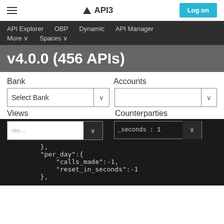API3
API Explorer  OBP  Dynamic  API Manager  More  Spaces
v4.0.0 (456 APIs)
Bank  Accounts  Select Bank  Views  Counterparties
[Figure (screenshot): JSON code block showing API rate limit fields: res_seconds: 1, }, per_day:{ calls_made:-1, reset_in_seconds:-1 },]